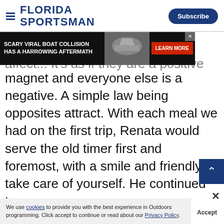FLORIDA SPORTSMAN | Subscribe
[Figure (other): Advertisement banner: 'SCARY VIRAL BOAT COLLISION HAS A HARROWING AFTERMATH' with boat image and 'LEARN MORE' button]
beca... affect... It's as if they are a positive magnet and everyone else is a negative. A simple law being opposites attract. With each meal we had on the first trip, Renata would serve the old timer first and foremost, with a smile and friendly take care of yourself. He continued to come in, where possible, from chicken rigging it off the stern and
We use cookies to provide you with the best experience in Outdoors programming. Click accept to continue or read about our Privacy Policy.